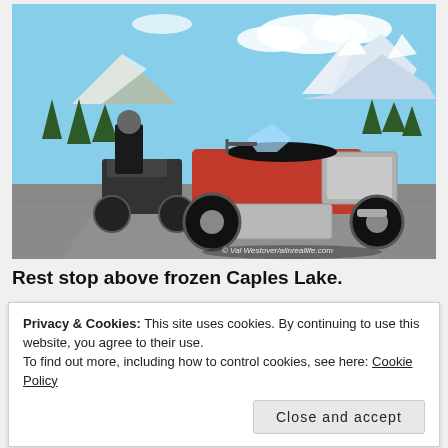[Figure (photo): Two motorcycles parked on a road with snow-capped mountains and pine trees in the background. A motorcyclist in gear stands beside one bike. Photo credit: © Val Westover/alinreallife.com]
Rest stop above frozen Caples Lake.
Privacy & Cookies: This site uses cookies. By continuing to use this website, you agree to their use.
To find out more, including how to control cookies, see here: Cookie Policy
Close and accept
A quick breakfast and on we went, enjoying